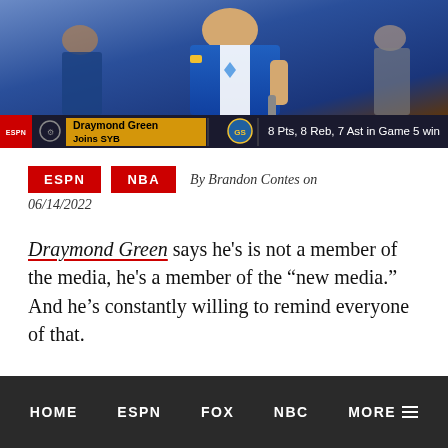[Figure (screenshot): TV broadcast screenshot showing Draymond Green in Golden State Warriors blue jersey. Bottom ticker bar shows 'Draymond Green Joins SYB' with '8 Pts, 8 Reb, 7 Ast in Game 5 win']
ESPN  NBA  By Brandon Contes on 06/14/2022
Draymond Green says he's is not a member of the media, he's a member of the “new media.” And he's constantly willing to remind everyone of that.
HOME   ESPN   FOX   NBC   MORE